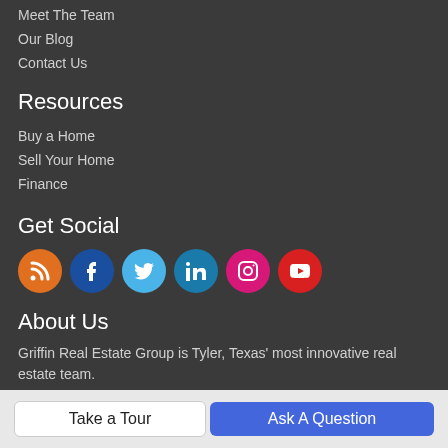Meet The Team
Our Blog
Contact Us
Resources
Buy a Home
Sell Your Home
Finance
Get Social
[Figure (illustration): Social media icons: RSS (orange), Facebook (dark blue), Twitter (light blue), LinkedIn (teal blue), Instagram (pink), YouTube (red)]
About Us
Griffin Real Estate Group is Tyler, Texas' most innovative real estate team.
Take a Tour
Ask A Question